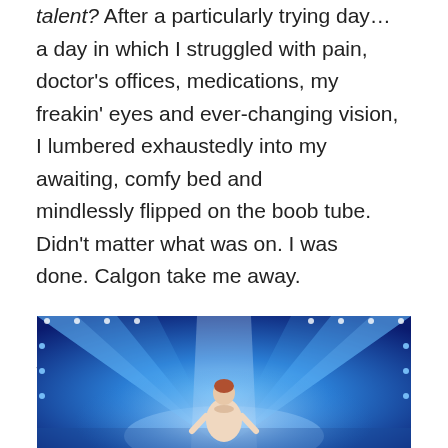talent? After a particularly trying day… a day in which I struggled with pain, doctor's offices, medications, my freakin' eyes and ever-changing vision, I lumbered exhaustedly into my awaiting, comfy bed and mindlessly flipped on the boob tube. Didn't matter what was on. I was done. Calgon take me away.

Suddenly, but slowly HE shuffled on stage.
[Figure (photo): A performer on a brightly lit stage with blue lighting and geometric light beams, wearing a light-colored outfit, viewed from the front on what appears to be a talent show stage.]